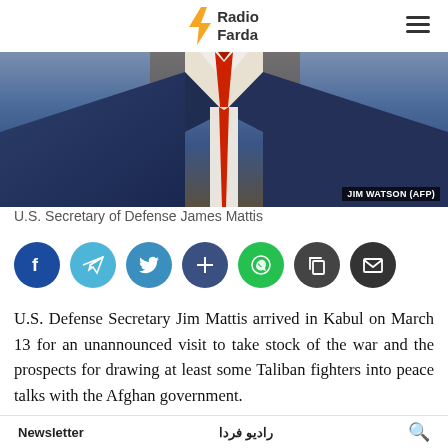Radio Farda
[Figure (photo): Photo of U.S. Secretary of Defense James Mattis in a dark blue suit with red tie, credit: JIM WATSON (AFP)]
U.S. Secretary of Defense James Mattis
[Figure (infographic): Social sharing buttons row: Facebook (dark blue), Telegram (light blue), Twitter (blue), Share (dark blue), WhatsApp (green), Copy (dark gray), Email (dark gray)]
U.S. Defense Secretary Jim Mattis arrived in Kabul on March 13 for an unannounced visit to take stock of the war and the prospects for drawing at least some Taliban fighters into peace talks with the Afghan government.
The visit, which was not announced in advance due to security concerns, comes as the United States is
Newsletter | رادیو فردا | 🔍